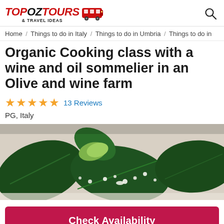TopOZTours & Travel Ideas
Home / Things to do in Italy / Things to do in Umbria / Things to do in
Organic Cooking class with a wine and oil sommelier in an Olive and wine farm
★★★★★ 13 Reviews
PG, Italy
[Figure (photo): Close-up photo of fresh basil leaves with grated cheese on a white plate, part of an organic cooking class dish]
Check Availability